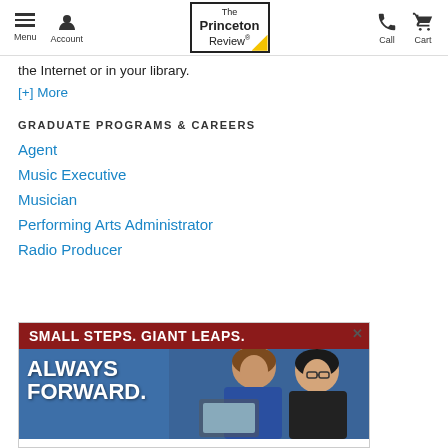Menu | Account | The Princeton Review | Call | Cart
the Internet or in your library.
[+] More
GRADUATE PROGRAMS & CAREERS
Agent
Music Executive
Musician
Performing Arts Administrator
Radio Producer
[Figure (photo): Advertisement banner reading 'SMALL STEPS. GIANT LEAPS. ALWAYS FORWARD.' with two people looking at a computer screen, blue and red background]